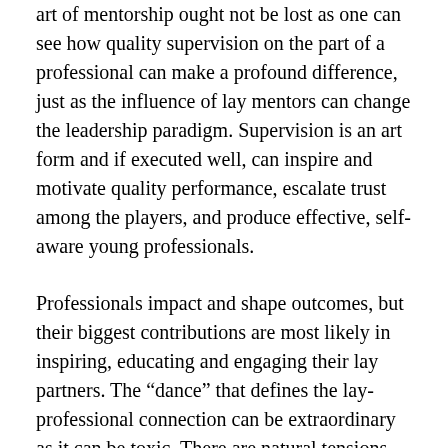art of mentorship ought not be lost as one can see how quality supervision on the part of a professional can make a profound difference, just as the influence of lay mentors can change the leadership paradigm. Supervision is an art form and if executed well, can inspire and motivate quality performance, escalate trust among the players, and produce effective, self-aware young professionals.
Professionals impact and shape outcomes, but their biggest contributions are most likely in inspiring, educating and engaging their lay partners. The “dance” that defines the lay-professional connection can be extraordinary as it can be toxic. There are natural tensions built into such relationships but the capacity to minimize those points of conflict can enable this association to flourish! Trust represents a defining and